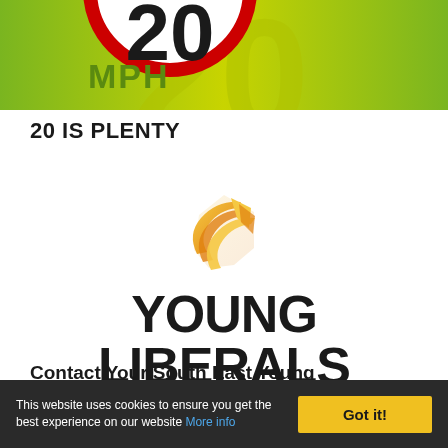[Figure (illustration): 20 mph speed limit sign graphic with red circle border, 'MPH' text, and large green '20' on yellow-green background]
20 IS PLENTY
[Figure (logo): Young Liberals logo: angular golden/yellow swoosh graphic above 'YOUNG LIBERALS' text in bold black]
Contact Your South East Young Liberal Chair
This website uses cookies to ensure you get the best experience on our website More info